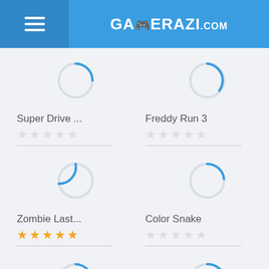GAMERAZI.com
[Figure (screenshot): Loading spinner circle for Super Drive game]
[Figure (screenshot): Loading spinner circle for Freddy Run 3 game]
Super Drive ...
★★★★★ (no stars filled)
Freddy Run 3
★★★★★ (no stars filled)
[Figure (screenshot): Loading spinner circle for Zombie Last game]
[Figure (screenshot): Loading spinner circle for Color Snake game]
Zombie Last...
★★★★★ (5 gold stars)
Color Snake
★★★★★ (no stars filled)
[Figure (screenshot): Loading spinner circle (5th game)]
[Figure (screenshot): Loading spinner circle (6th game)]